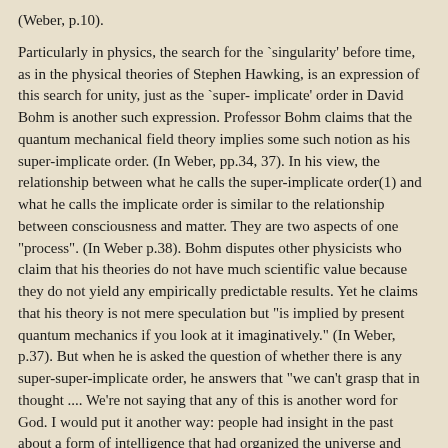(Weber, p.10).
Particularly in physics, the search for the `singularity' before time, as in the physical theories of Stephen Hawking, is an expression of this search for unity, just as the `super- implicate' order in David Bohm is another such expression. Professor Bohm claims that the quantum mechanical field theory implies some such notion as his super-implicate order. (In Weber, pp.34, 37). In his view, the relationship between what he calls the super-implicate order(1) and what he calls the implicate order is similar to the relationship between consciousness and matter. They are two aspects of one "process". (In Weber p.38). Bohm disputes other physicists who claim that his theories do not have much scientific value because they do not yield any empirically predictable results. Yet he claims that his theory is not mere speculation but "is implied by present quantum mechanics if you look at it imaginatively." (In Weber, p.37). But when he is asked the question of whether there is any super-super-implicate order, he answers that "we can't grasp that in thought .... We're not saying that any of this is another word for God. I would put it another way: people had insight in the past about a form of intelligence that had organized the universe and they personalized it and called it God. A similar insight can prevail today without personalizing it and without calling it a personal God." (In Weber, p.39).